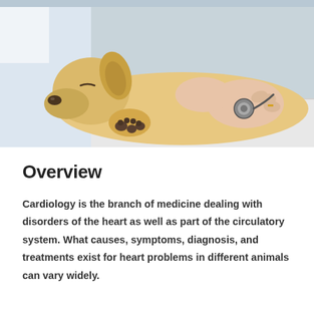[Figure (photo): A golden retriever puppy lying on its side on a white examination table while a veterinarian in a white coat uses a stethoscope to listen to the dog's chest. The vet's hands are visible holding the stethoscope against the dog's abdomen.]
Overview
Cardiology is the branch of medicine dealing with disorders of the heart as well as part of the circulatory system. What causes, symptoms, diagnosis, and treatments exist for heart problems in different animals can vary widely.